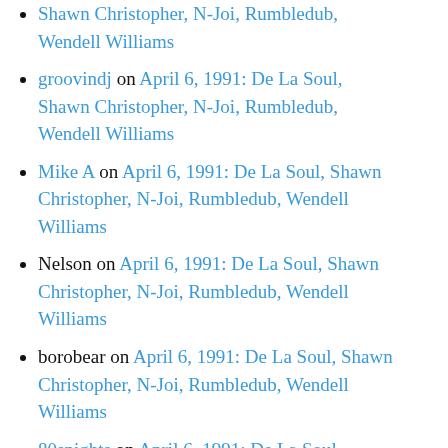groovindj on April 6, 1991: De La Soul, Shawn Christopher, N-Joi, Rumbledub, Wendell Williams
Mike A on April 6, 1991: De La Soul, Shawn Christopher, N-Joi, Rumbledub, Wendell Williams
Nelson on April 6, 1991: De La Soul, Shawn Christopher, N-Joi, Rumbledub, Wendell Williams
borobear on April 6, 1991: De La Soul, Shawn Christopher, N-Joi, Rumbledub, Wendell Williams
80snights on April 6, 1991: De La Soul, Shawn Christopher, N-Joi, Rumbledub, Wendell Williams